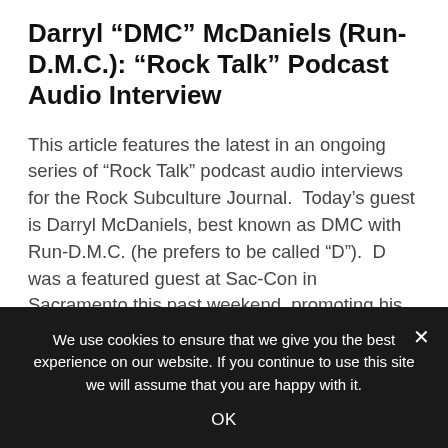Darryl “DMC” McDaniels (Run-D.M.C.): “Rock Talk” Podcast Audio Interview
This article features the latest in an ongoing series of “Rock Talk” podcast audio interviews for the Rock Subculture Journal.  Today’s guest is Darryl McDaniels, best known as DMC with Run-D.M.C. (he prefers to be called “D”).  D was a featured guest at Sac-Con in Sacramento this past weekend, promoting his authentic foray into the […]
[Figure (photo): Black and white photo strip, partially visible at bottom of main content area]
We use cookies to ensure that we give you the best experience on our website. If you continue to use this site we will assume that you are happy with it.
OK